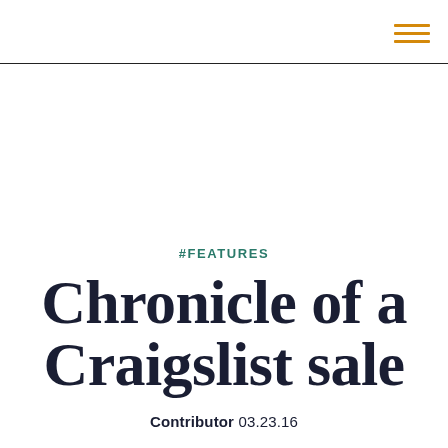#FEATURES
Chronicle of a Craigslist sale
Contributor 03.23.16